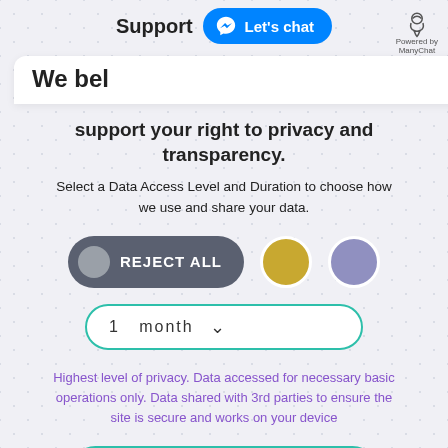Support  Let's chat  Powered by ManyChat
We bel
support your right to privacy and transparency.
Select a Data Access Level and Duration to choose how we use and share your data.
[Figure (other): Three selection buttons: REJECT ALL (dark pill with grey circle), a gold circle button, and a purple circle button]
[Figure (other): Dropdown selector showing '1 month' with teal border and chevron]
Highest level of privacy. Data accessed for necessary basic operations only. Data shared with 3rd parties to ensure the site is secure and works on your device
[Figure (other): Green teal 'Save my preferences' button]